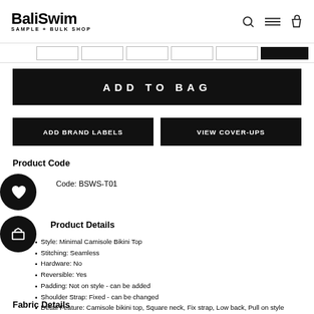BaliSwim SAMPLE + BULK SHOP
[Figure (screenshot): Navigation bar with dropdown filters and a dark button]
ADD TO BAG
ADD BRAND LABELS
VIEW COVER-UPS
Product Code
Code: BSWS-T01
Product Details
Style: Minimal Camisole Bikini Top
Stitching: Seamless
Hardware: No
Reversible: Yes
Padding: Not on style - can be added
Shoulder Strap: Fixed - can be changed
Detail Feature: Camisole bikini top, Square neck, Fix strap, Low back, Pull on style
Fabric Details